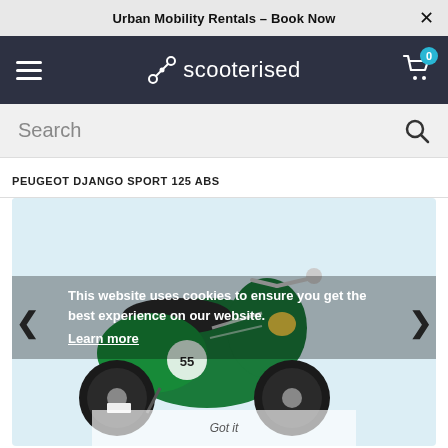Urban Mobility Rentals – Book Now
[Figure (logo): Scooterised logo with shopping cart icon and hamburger menu on dark navy background]
Search
PEUGEOT DJANGO SPORT 125 ABS
[Figure (photo): Green Peugeot Django Sport 125 ABS scooter on light blue background, with number 55 on side panel and cookie consent notice overlay reading: This website uses cookies to ensure you get the best experience on our website. Learn more]
This website uses cookies to ensure you get the best experience on our website. Learn more